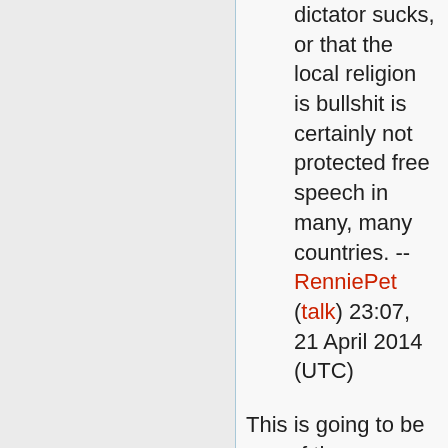dictator sucks, or that the local religion is bullshit is certainly not protected free speech in many, many countries. --RenniePet (talk) 23:07, 21 April 2014 (UTC)
This is going to be one of those XKCDs everyone is linking to, to make a point.Jkrstrt (talk) 08:27, 18 April 2014 (UTC)
Though, I will say, I'm a bit concerned that the point people may be making is that "Argumentum ad Populum" is totally legit, as there is a suggestion one could infer that